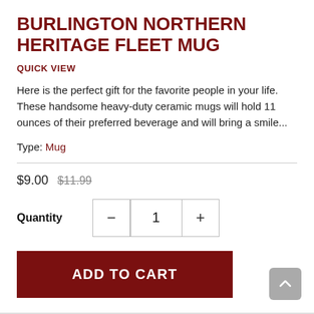BURLINGTON NORTHERN HERITAGE FLEET MUG
QUICK VIEW
Here is the perfect gift for the favorite people in your life. These handsome heavy-duty ceramic mugs will hold 11 ounces of their preferred beverage and will bring a smile...
Type: Mug
$9.00 $11.99
Quantity 1
ADD TO CART